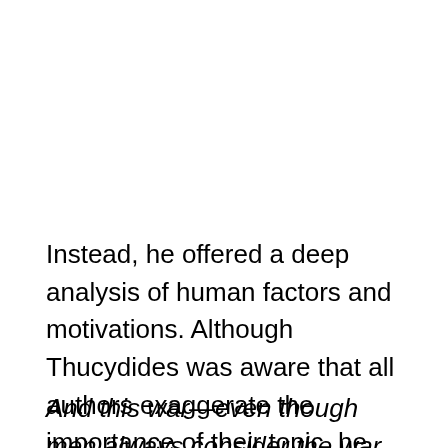Instead, he offered a deep analysis of human factors and motivations. Although Thucydides was aware that all authors exaggerate the importance of their topic, he still felt inclined to make a case for his:
And this war—even though men always consider the war on hand the most important while they are